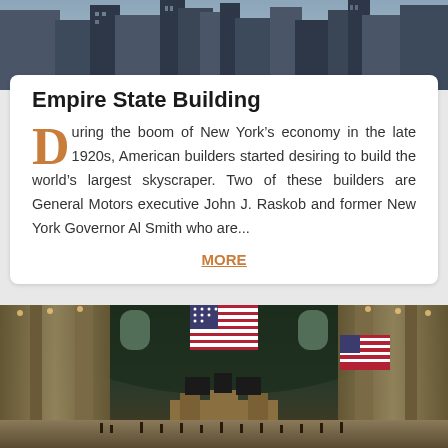[Figure (photo): Aerial/skyline view of New York City skyscrapers, dark city buildings against sky]
Empire State Building
During the boom of New York's economy in the late 1920s, American builders started desiring to build the world's largest skyscraper. Two of these builders are General Motors executive John J. Raskob and former New York Governor Al Smith who are...
MORE
[Figure (photo): Interior of Grand Central Terminal with large American flag hanging from ceiling, ornate architecture, crowds of people on main concourse floor]